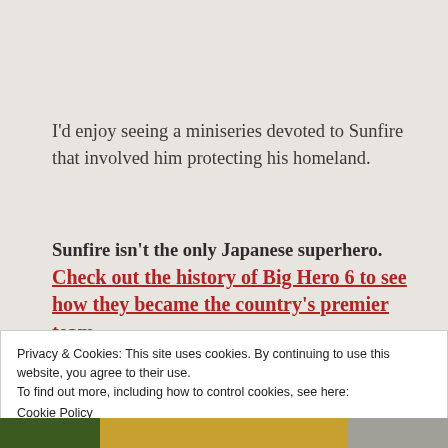I'd enjoy seeing a miniseries devoted to Sunfire that involved him protecting his homeland.
Sunfire isn't the only Japanese superhero. Check out the history of Big Hero 6 to see how they became the country's premier team.
Privacy & Cookies: This site uses cookies. By continuing to use this website, you agree to their use.
To find out more, including how to control cookies, see here:
Cookie Policy